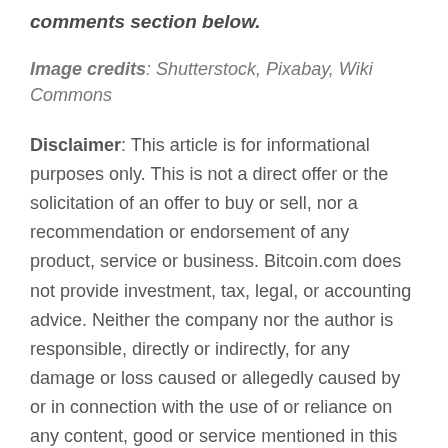learn. Let us know what you think in the comments section below.
Image credits: Shutterstock, Pixabay, Wiki Commons
Disclaimer: This article is for informational purposes only. This is not a direct offer or the solicitation of an offer to buy or sell, nor a recommendation or endorsement of any product, service or business. Bitcoin.com does not provide investment, tax, legal, or accounting advice. Neither the company nor the author is responsible, directly or indirectly, for any damage or loss caused or allegedly caused by or in connection with the use of or reliance on any content, good or service mentioned in this